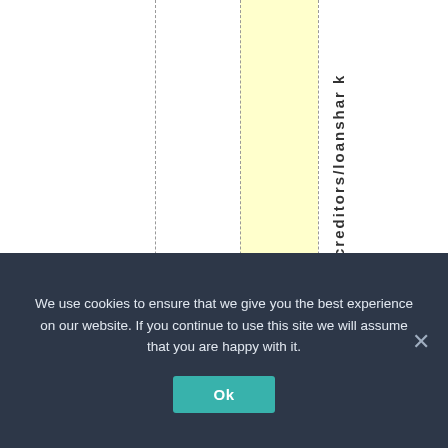[Figure (other): Table or spreadsheet fragment showing vertical rotated text reading 'creditors/loanshar k' along a column with dashed vertical gridlines and a yellow highlighted column.]
We use cookies to ensure that we give you the best experience on our website. If you continue to use this site we will assume that you are happy with it.
Ok